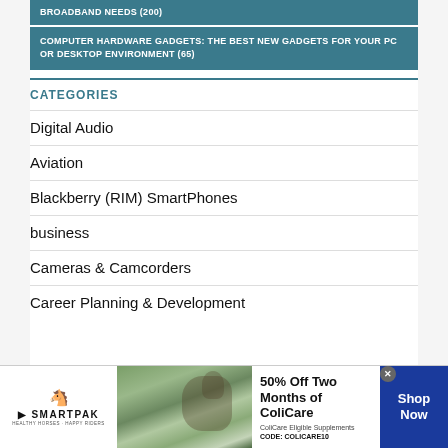BROADBAND NEEDS (200)
COMPUTER HARDWARE GADGETS: THE BEST NEW GADGETS FOR YOUR PC OR DESKTOP ENVIRONMENT (65)
CATEGORIES
Digital Audio
Aviation
Blackberry (RIM) SmartPhones
business
Cameras & Camcorders
Career Planning & Development
[Figure (photo): SmartPak advertisement banner: 50% Off Two Months of ColiCare, ColiCare Eligible Supplements, CODE: COLICARE10, with SmartPak logo, horse and rider image, and Shop Now button]